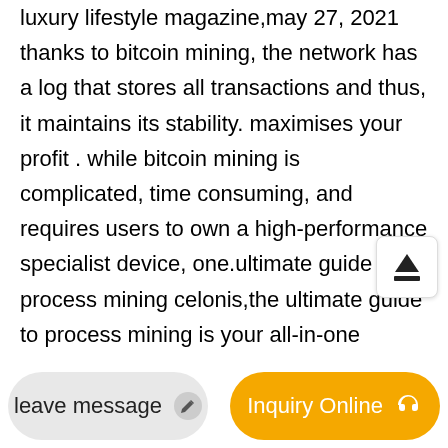luxury lifestyle magazine,may 27, 2021 thanks to bitcoin mining, the network has a log that stores all transactions and thus, it maintains its stability. maximises your profit . while bitcoin mining is complicated, time consuming, and requires users to own a high-performance specialist device, one.ultimate guide to process mining celonis,the ultimate guide to process mining is your all-in-one handbook for process excellence. in this robust 50-page guide, youll learn everything there is to know about process mining, the technology at the core of celonis execution management system.find out how it works, and how it can help you transform business processes to maximize execution capacity and accelerate outcomes onto
[Figure (other): Upload/share button icon - an upward arrow above a horizontal bar, inside a white rounded square box]
leave message
Inquiry Online